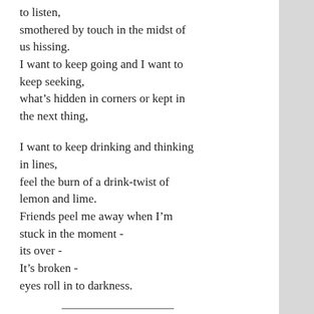…ight place, what to get you to listen,
smothered by touch in the midst of us hissing.
I want to keep going and I want to keep seeking,
what's hidden in corners or kept in the next thing,

I want to keep drinking and thinking in lines,
feel the burn of a drink-twist of lemon and lime.
Friends peel me away when I'm stuck in the moment -
its over -
It's broken -
eyes roll in to darkness.